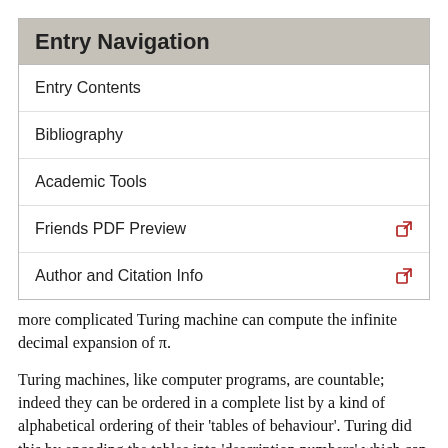Entry Navigation
Entry Contents
Bibliography
Academic Tools
Friends PDF Preview
Author and Citation Info
more complicated Turing machine can compute the infinite decimal expansion of π.
Turing machines, like computer programs, are countable; indeed they can be ordered in a complete list by a kind of alphabetical ordering of their ‘tables of behaviour’. Turing did this by encoding the tables into ‘description numbers’ which can then be ordered in magnitude. Amongst this list, a subset of them (those with ‘satisfactory’ description numbers) are the machines which have the effect of printing out infinite decimals. It